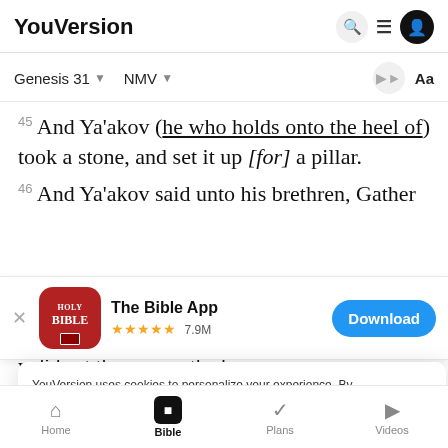YouVersion
Genesis 31  NMV
45 And Ya'akov (he who holds onto the heel of) took a stone, and set it up [for] a pillar.
46 And Ya'akov said unto his brethren, Gather
[Figure (screenshot): The Bible App banner with Holy Bible icon, 5-star rating, 7.9M reviews, and Download button]
y did eat there upon the heap.
47 An
witness
YouVersion uses cookies to personalize your experience. By using our website, you accept our use of cookies as described in our Privacy Policy.
Home  Bible  Plans  Videos